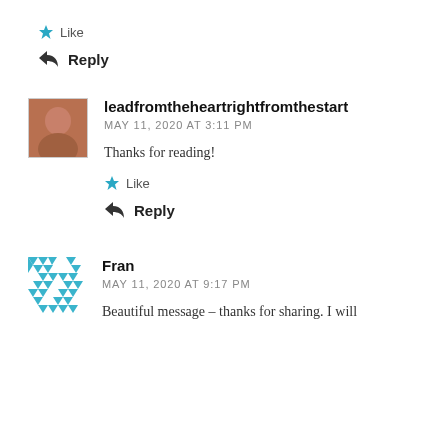★ Like
↩ Reply
leadfromtheheartrightfromthestart
MAY 11, 2020 AT 3:11 PM
Thanks for reading!
★ Like
↩ Reply
Fran
MAY 11, 2020 AT 9:17 PM
Beautiful message – thanks for sharing. I will